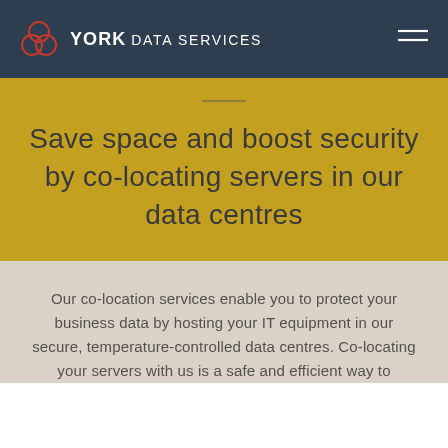YORK DATA SERVICES
Save space and boost security by co-locating servers in our data centres
Our co-location services enable you to protect your business data by hosting your IT equipment in our secure, temperature-controlled data centres. Co-locating your servers with us is a safe and efficient way to